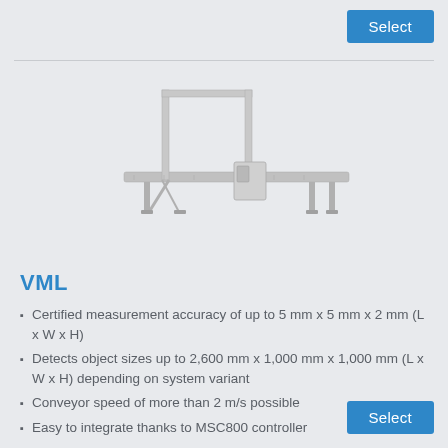Select
[Figure (photo): Industrial conveyor measurement machine (VML) with a tall vertical portal frame on the left and a long horizontal conveyor belt extending to the right, with a control cabinet mounted mid-section.]
VML
Certified measurement accuracy of up to 5 mm x 5 mm x 2 mm (L x W x H)
Detects object sizes up to 2,600 mm x 1,000 mm x 1,000 mm (L x W x H) depending on system variant
Conveyor speed of more than 2 m/s possible
Easy to integrate thanks to MSC800 controller
Select